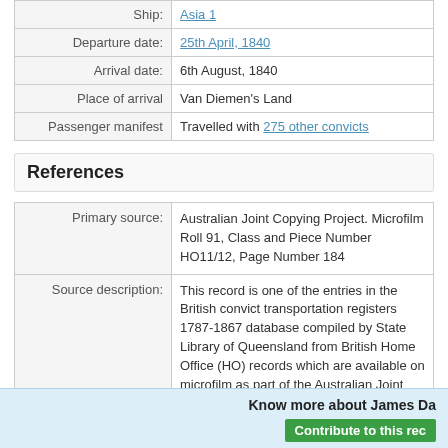|  |  |
| --- | --- |
| Ship: | Asia 1 |
| Departure date: | 25th April, 1840 |
| Arrival date: | 6th August, 1840 |
| Place of arrival | Van Diemen's Land |
| Passenger manifest | Travelled with 275 other convicts |
References
|  |  |
| --- | --- |
| Primary source: | Australian Joint Copying Project. Microfilm Roll 91, Class and Piece Number HO11/12, Page Number 184 |
| Source description: | This record is one of the entries in the British convict transportation registers 1787-1867 database compiled by State Library of Queensland from British Home Office (HO) records which are available on microfilm as part of the Australian Joint Copying Project. |
Know more about James Da
Contribute to this rec